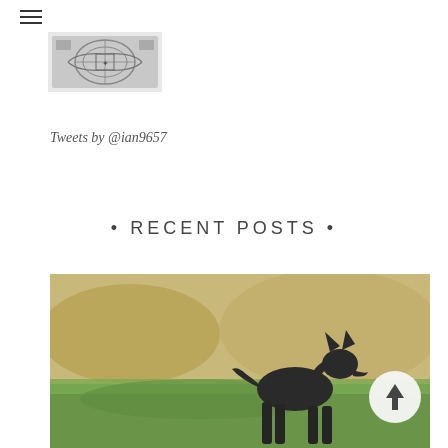☰
[Figure (logo): Black and white logo/emblem image]
Tweets by @ian9657
• RECENT POSTS •
[Figure (photo): A dark-colored dog (German Shepherd type) standing in a grassy outdoor field with blurred golden/green background]